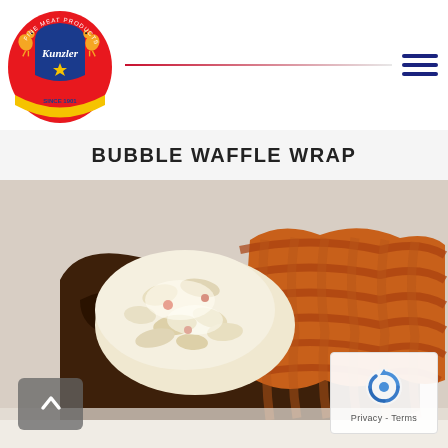[Figure (logo): Kunzler Fine Meat Products logo — circular badge with two red roosters, blue shield center with 'Kunzler' text, yellow ribbon]
BUBBLE WAFFLE WRAP
[Figure (photo): Close-up photo of a bubble waffle wrap filled with creamy macaroni salad, wrapped in bacon weave, on a white surface]
[Figure (other): reCAPTCHA privacy badge with spinning arrow icon and 'Privacy - Terms' text]